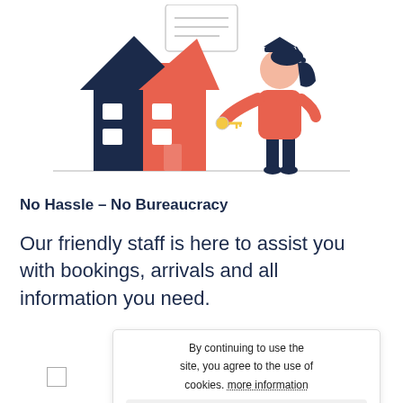[Figure (illustration): Flat-style illustration of a house (dark navy and salmon/coral colors) with white windows, and a female student wearing a graduation cap and holding a key, standing to the right of the house. There is also a small document/form icon above.]
No Hassle – No Bureaucracy
Our friendly staff is here to assist you with bookings, arrivals and all information you need.
By continuing to use the site, you agree to the use of cookies. more information
Accept